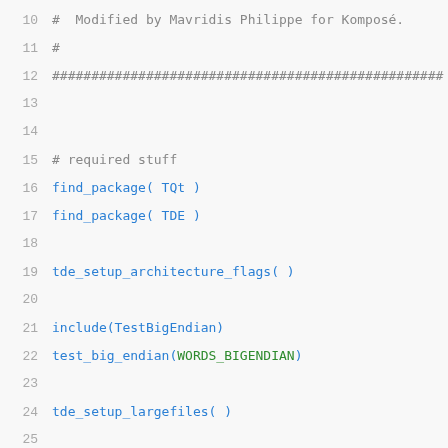Code listing lines 10-31: CMakeLists.txt snippet showing package finding, architecture setup, endian test, large files setup, and GCC visibility check
10    #  Modified by Mavridis Philippe for Komposé.
11    #
12    ##################################################
13    (empty)
14    (empty)
15    # required stuff
16    find_package( TQt )
17    find_package( TDE )
18    (empty)
19    tde_setup_architecture_flags( )
20    (empty)
21    include(TestBigEndian)
22    test_big_endian(WORDS_BIGENDIAN)
23    (empty)
24    tde_setup_largefiles( )
25    (empty)
26    (empty)
27    ##### check for gcc visibility support
28    (empty)
29    if( WITH_GCC_VISIBILITY )
30      tde_setup_gcc_visibility( )
31    endif( WITH_GCC_VISIBILITY )